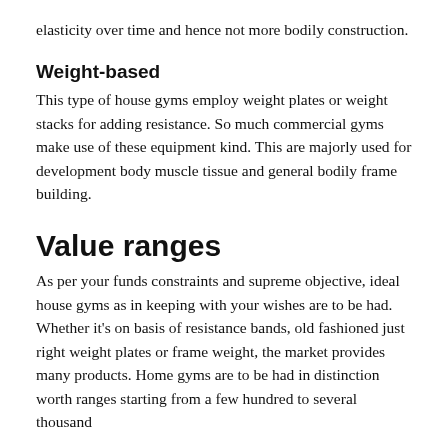elasticity over time and hence not more bodily construction.
Weight-based
This type of house gyms employ weight plates or weight stacks for adding resistance. So much commercial gyms make use of these equipment kind. This are majorly used for development body muscle tissue and general bodily frame building.
Value ranges
As per your funds constraints and supreme objective, ideal house gyms as in keeping with your wishes are to be had. Whether it's on basis of resistance bands, old fashioned just right weight plates or frame weight, the market provides many products. Home gyms are to be had in distinction worth ranges starting from a few hundred to several thousand